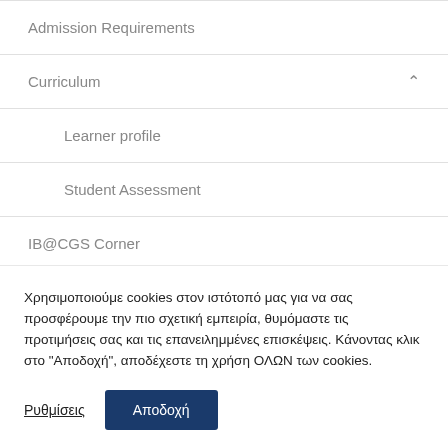Admission Requirements
Curriculum
Learner profile
Student Assessment
IB@CGS Corner
Χρησιμοποιούμε cookies στον ιστότοπό μας για να σας προσφέρουμε την πιο σχετική εμπειρία, θυμόμαστε τις προτιμήσεις σας και τις επανειλημμένες επισκέψεις. Κάνοντας κλικ στο "Αποδοχή", αποδέχεστε τη χρήση ΟΛΩΝ των cookies.
Ρυθμίσεις
Αποδοχή